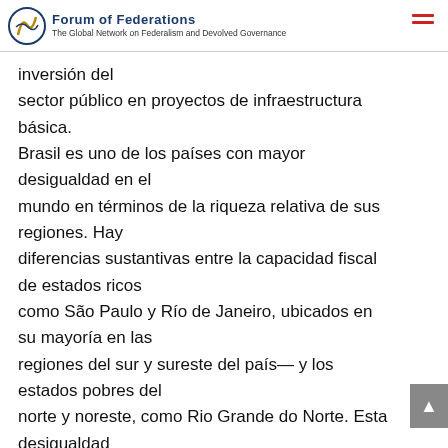Forum of Federations – The Global Network on Federalism and Devolved Governance
inversión del sector público en proyectos de infraestructura básica. Brasil es uno de los países con mayor desigualdad en el mundo en términos de la riqueza relativa de sus regiones. Hay diferencias sustantivas entre la capacidad fiscal de estados ricos como São Paulo y Río de Janeiro, ubicados en su mayoría en las regiones del sur y sureste del país— y los estados pobres del norte y noreste, como Rio Grande do Norte. Esta desigualdad existe también entre las grandes ciudades que tienen una actividad económica mayor— las capitales de los